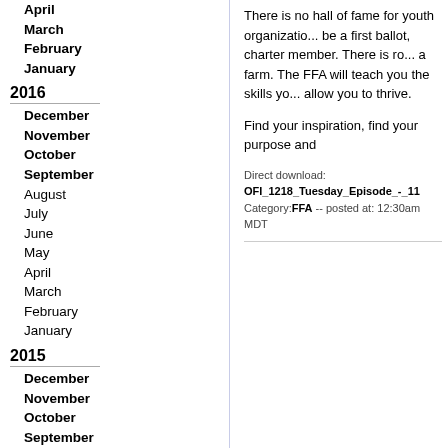April
March
February
January
2016
December
November
October
September
August
July
June
May
April
March
February
January
2015
December
November
October
September
August
July
June
May
April
March
February
January
There is no hall of fame for youth organizations but if there were, FFA would be a first ballot, charter member. There is nothing wrong with growing up on a farm. The FFA will teach you the skills you need and allow you to thrive.
Find your inspiration, find your purpose and
Direct download: OFI_1218_Tuesday_Episode_-_11
Category:FFA -- posted at: 12:30am MDT